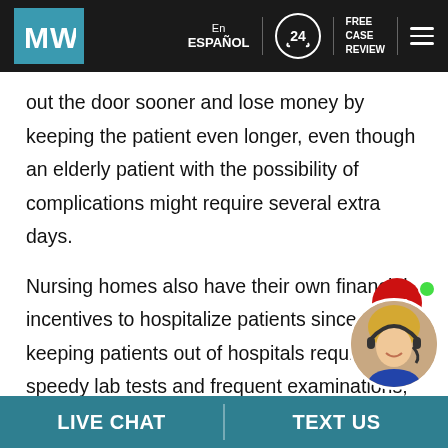MW | En Español | 24 | FREE CASE REVIEW
out the door sooner and lose money by keeping the patient even longer, even though an elderly patient with the possibility of complications might require several extra days.
Nursing homes also have their own financial incentives to hospitalize patients since keeping patients out of hospitals require speedy lab tests and frequent examinations; all of which cost to the nursing home facility.
If your loved one has already been affected by
[Figure (photo): Live chat agent widget with red speech bubble with ellipsis icon and green online dot, and circular headshot of a blonde female agent]
LIVE CHAT | TEXT US